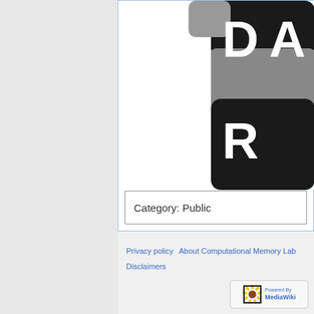[Figure (logo): Partial view of a logo with dark rounded rectangular blocks and large white letters 'D' and 'R' visible, on a white background with light blue border]
Category:  Public
Privacy policy   About Computational Memory Lab   Disclaimers
[Figure (logo): Powered by MediaWiki badge with sunflower icon]